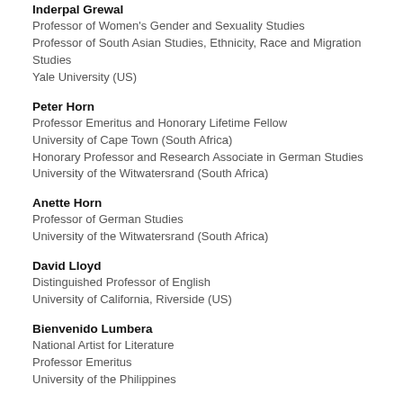Inderpal Grewal
Professor of Women's Gender and Sexuality Studies
Professor of South Asian Studies, Ethnicity, Race and Migration Studies
Yale University (US)
Peter Horn
Professor Emeritus and Honorary Lifetime Fellow
University of Cape Town (South Africa)
Honorary Professor and Research Associate in German Studies
University of the Witwatersrand (South Africa)
Anette Horn
Professor of German Studies
University of the Witwatersrand (South Africa)
David Lloyd
Distinguished Professor of English
University of California, Riverside (US)
Bienvenido Lumbera
National Artist for Literature
Professor Emeritus
University of the Philippines